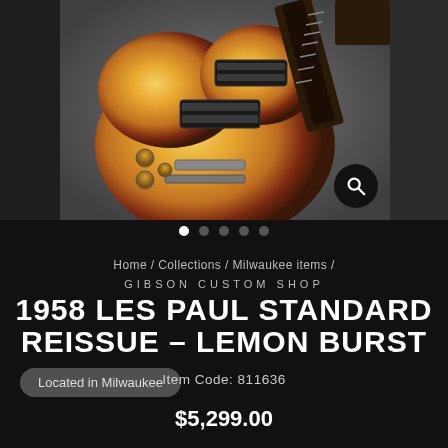[Figure (photo): Gibson Les Paul Standard guitar in Lemon Burst finish, shown from front angle on gray background. The guitar body shows a sunburst pattern from golden-yellow center to dark edges. Photograph cropped showing body and part of neck/fretboard.]
Home / Collections / Milwaukee items /
GIBSON CUSTOM SHOP
1958 LES PAUL STANDARD REISSUE – LEMON BURST
Located in Milwaukee
Item Code: 811636
$5,299.00